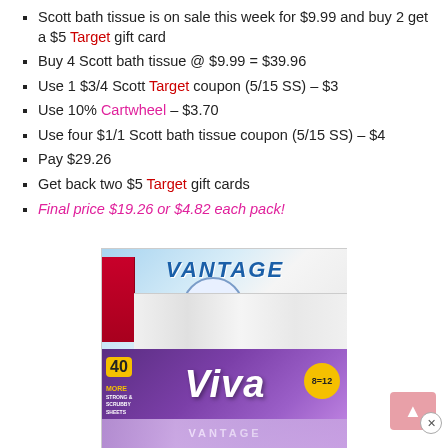Scott bath tissue is on sale this week for $9.99 and buy 2 get a $5 Target gift card
Buy 4 Scott bath tissue @ $9.99 = $39.96
Use 1 $3/4 Scott Target coupon (5/15 SS) – $3
Use 10% Cartwheel – $3.70
Use four $1/1 Scott bath tissue coupon (5/15 SS) – $4
Pay $29.26
Get back two $5 Target gift cards
Final price $19.26 or $4.82 each pack!
[Figure (photo): Photo of Scott Vantage paper towels (top) and Viva Vantage paper towels (bottom, purple packaging with '40 MORE', 'Viva VANTAGE', '8=12', 'STRONG & SCRUBS' badge)]